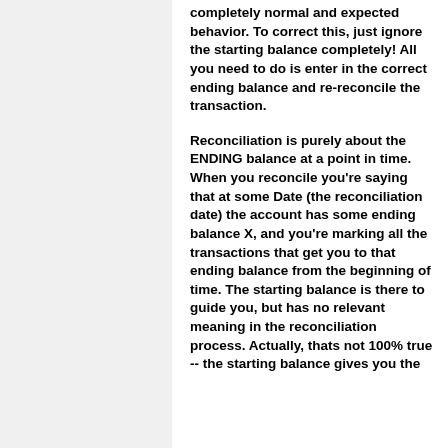completely normal and expected behavior. To correct this, just ignore the starting balance completely! All you need to do is enter in the correct ending balance and re-reconcile the transaction.
Reconciliation is purely about the ENDING balance at a point in time. When you reconcile you're saying that at some Date (the reconciliation date) the account has some ending balance X, and you're marking all the transactions that get you to that ending balance from the beginning of time. The starting balance is there to guide you, but has no relevant meaning in the reconciliation process. Actually, thats not 100% true -- the starting balance gives you the